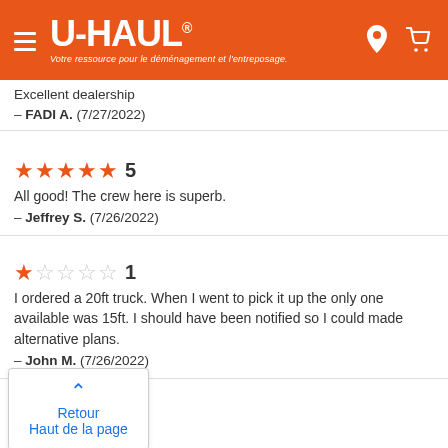[Figure (logo): U-Haul orange header with hamburger menu, U-HAUL logo with registered trademark, French subtitle 'Votre ressource pour le déménagement et l'entreposage.', location pin icon, and shopping cart icon]
Excellent dealership
— FADI A. (7/27/2022)
★★★★★ 5
All good! The crew here is superb.
— Jeffrey S. (7/26/2022)
★☆☆☆☆ 1
I ordered a 20ft truck. When I went to pick it up the only one available was 15ft. I should have been notified so I could made alternative plans.
— John M. (7/26/2022)
Retour
Haut de la page
Nothing
— Doug B. (7/26/2022)